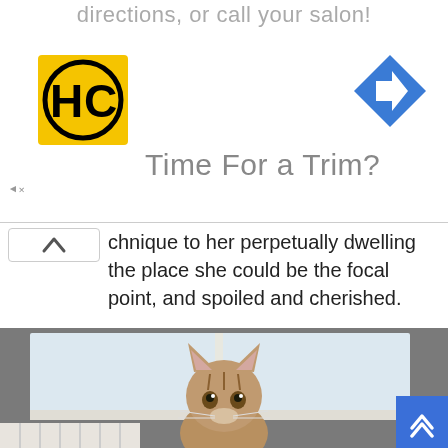directions, or call your salon!
[Figure (logo): HC logo — yellow square with black HC letters and circle]
[Figure (illustration): Blue diamond navigation/directions arrow icon]
Time For a Trim?
chnique to her perpetually dwelling the place she could be the focal point, and spoiled and cherished.
[Figure (photo): A tabby kitten sitting upright on a surface in front of a window, with framed wall art visible on the right wall]